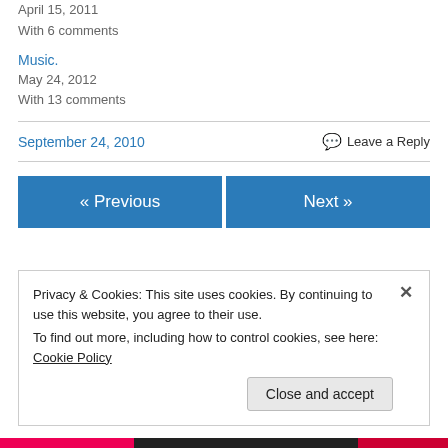April 15, 2011
With 6 comments
Music.
May 24, 2012
With 13 comments
September 24, 2010
Leave a Reply
« Previous
Next »
Privacy & Cookies: This site uses cookies. By continuing to use this website, you agree to their use.
To find out more, including how to control cookies, see here: Cookie Policy
Close and accept